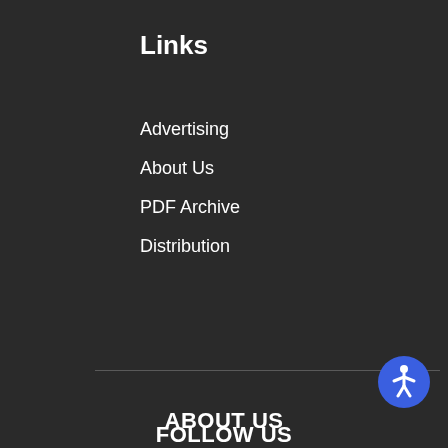Links
Advertising
About Us
PDF Archive
Distribution
ABOUT US
FOLLOW US
[Figure (illustration): Blue circular accessibility icon with a white human figure in the center, located in the bottom-right corner]